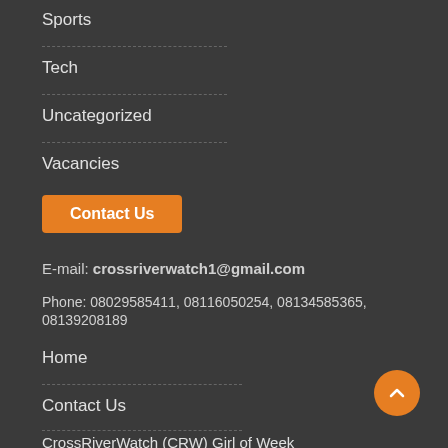Sports
Tech
Uncategorized
Vacancies
Contact Us
E-mail: crossriverwatch1@gmail.com
Phone: 08029585411, 08116050254, 08134585365, 08139208189
Home
Contact Us
CrossRiverWatch (CRW) Girl of Week